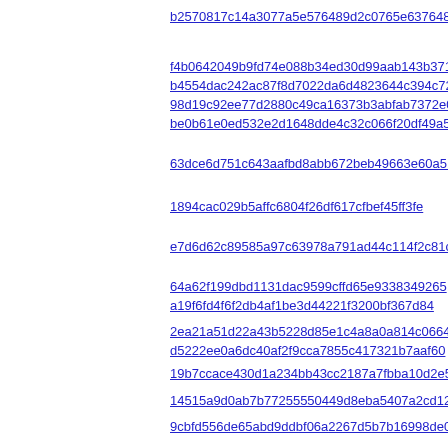b2570817c14a3077a5e576489d2c0765e637648
f4b0642049b9fd74e088b34ed30d99aab143b371
b4554dac242ac87f8d7022da6d4823644c394c72
98d19c92ee77d2880c49ca16373b3abfab7372e0
be0b61e0ed532e2d1648dde4c32c066f20df49a5
63dce6d751c643aafbd8abb672beb49663e60a51
1894cac029b5affc6804f26df617cfbef45ff3fe
e7d6d62c89585a97c63978a791ad44c114f2c81c
64a62f199dbd1131dac9599cffd65e9338349265
a19f6fd4f6f2db4af1be3d44221f3200bf367d84
2ea21a51d22a43b5228d85e1c4a8a0a814c0664
d5222ee0a6dc40af2f9cca7855c417321b7aaf60
19b7ccace430d1a234bb43cc2187a7fbba10d2e5
14515a9d0ab7b77255550449d8eba5407a2cd12c
9cbfd556de65abd9ddbf06a2267d5b7b16998de0
5026c5ad25e799be244fe59972c2df41b5d8b2b9